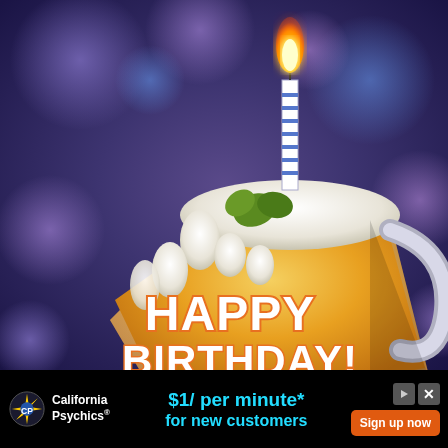[Figure (illustration): Illustration of a beer mug shaped like a slice of cake with white foam frosting on top, a blue and white striped birthday candle with flame, hop leaves as garnish, all against a blurry bokeh purple and blue background. Text 'HAPPY BIRTHDAY!' on the mug in large white/orange 3D letters.]
California Psychics® $1/ per minute* for new customers Sign up now